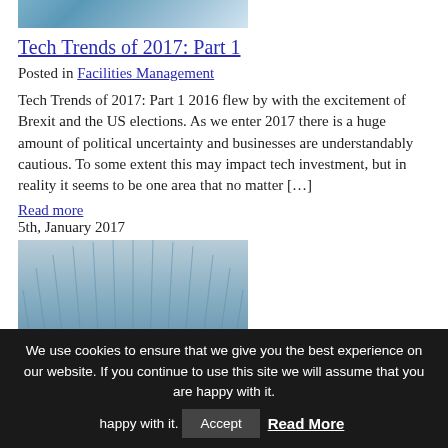[Figure (photo): Top portion of a building with blue-green glass facade]
Tech Trends of 2017: Part 1
Posted in Facilities Management
Tech Trends of 2017: Part 1 2016 flew by with the excitement of Brexit and the US elections. As we enter 2017 there is a huge amount of political uncertainty and businesses are understandably cautious. To some extent this may impact tech investment, but in reality it seems to be one area that no matter […]
Read more
5th, January 2017
[Figure (photo): Architectural dome or curved glass roof structure with grid pattern]
We use cookies to ensure that we give you the best experience on our website. If you continue to use this site we will assume that you are happy with it.